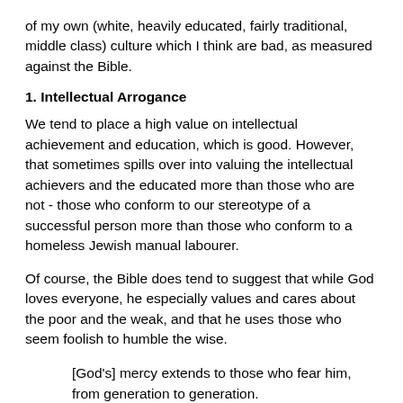of my own (white, heavily educated, fairly traditional, middle class) culture which I think are bad, as measured against the Bible.
1. Intellectual Arrogance
We tend to place a high value on intellectual achievement and education, which is good. However, that sometimes spills over into valuing the intellectual achievers and the educated more than those who are not - those who conform to our stereotype of a successful person more than those who conform to a homeless Jewish manual labourer.
Of course, the Bible does tend to suggest that while God loves everyone, he especially values and cares about the poor and the weak, and that he uses those who seem foolish to humble the wise.
[God's] mercy extends to those who fear him,
from generation to generation.
He has performed mighty deeds with his arm;
he has scattered those who are proud in their
most thought.